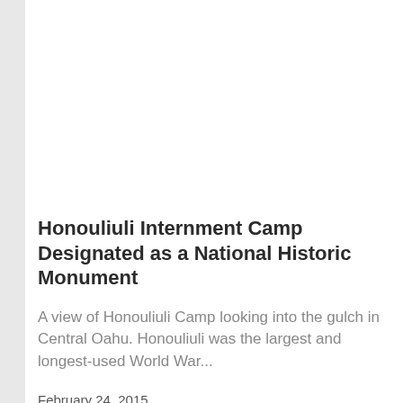Honouliuli Internment Camp Designated as a National Historic Monument
A view of Honouliuli Camp looking into the gulch in Central Oahu. Honouliuli was the largest and longest-used World War...
February 24, 2015